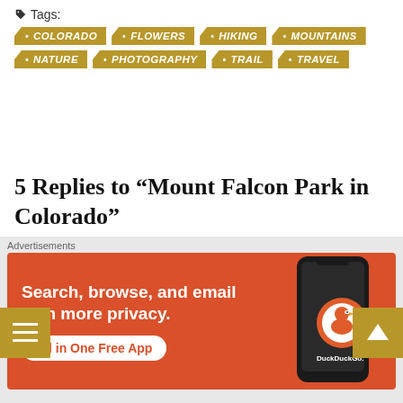Tags: • COLORADO • FLOWERS • HIKING • MOUNTAINS • NATURE • PHOTOGRAPHY • TRAIL • TRAVEL
5 Replies to “Mount Falcon Park in Colorado”
tangosbaking
MARCH 24, 2020 AT 6:48 PM
[Figure (other): Advertisement banner for DuckDuckGo: Search, browse, and email with more privacy. All in One Free App]
Advertisements